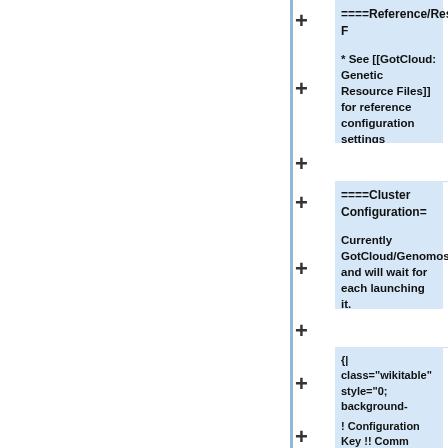====Reference/Resource F
* See [[GotCloud: Genetic Resource Files]] for reference configuration settings
====Cluster Configuration=
Currently GotCloud/Genomosix and will wait for each launching it.
{| class="wikitable" style="0; background-color: #f9f9f solid; border-collapse: colla
! Configuration Key !! Comm colspan="3"|Value Descript
|-